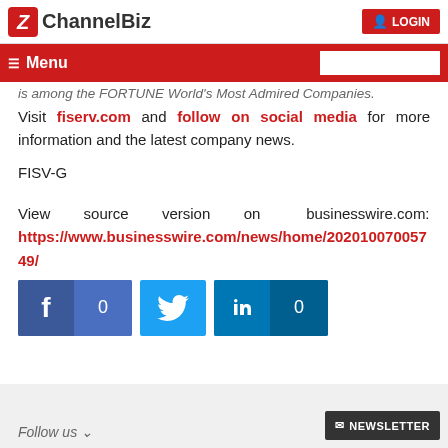ChannelBiz | LOGIN
is among the FORTUNE World's Most Admired Companies.
Visit fiserv.com and follow on social media for more information and the latest company news.
FISV-G
View source version on businesswire.com: https://www.businesswire.com/news/home/20201007005749/
[Figure (infographic): Social media share buttons: Facebook (0 shares), Twitter, LinkedIn (0 shares)]
Follow us | NEWSLETTER